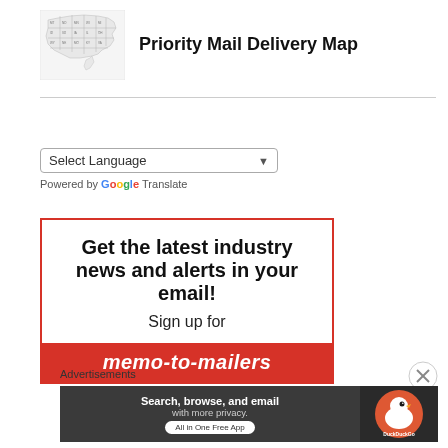Priority Mail Delivery Map
[Figure (map): Small thumbnail map of the United States showing priority mail delivery zones by state]
[Figure (infographic): Advertisement banner with red border: 'Get the latest industry news and alerts in your email! Sign up for memo-to-mailers' with red bottom bar]
Select Language
Powered by Google Translate
Advertisements
[Figure (infographic): DuckDuckGo advertisement: 'Search, browse, and email with more privacy. All in One Free App' with DuckDuckGo logo on dark background]